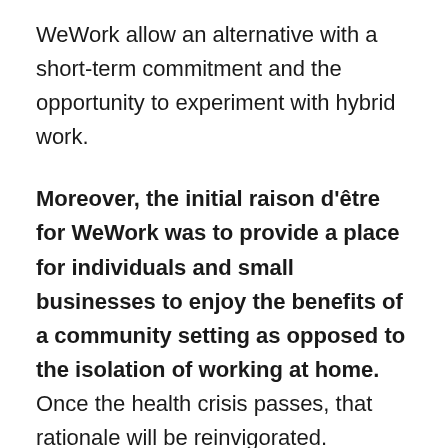WeWork allow an alternative with a short-term commitment and the opportunity to experiment with hybrid work.
Moreover, the initial raison d'être for WeWork was to provide a place for individuals and small businesses to enjoy the benefits of a community setting as opposed to the isolation of working at home. Once the health crisis passes, that rationale will be reinvigorated. Moreover, businesses that are looking at the new concept of hotelling where they host